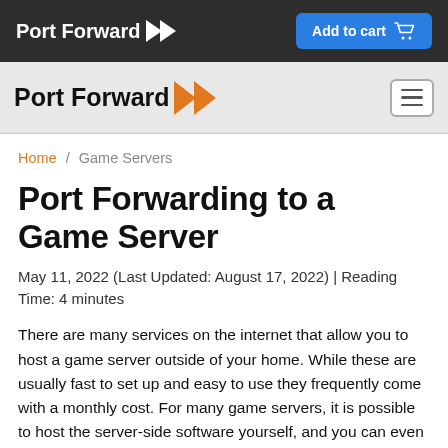Port Forward | Add to cart
Port Forward
Home / Game Servers
Port Forwarding to a Game Server
May 11, 2022 (Last Updated: August 17, 2022) | Reading Time: 4 minutes
There are many services on the internet that allow you to host a game server outside of your home. While these are usually fast to set up and easy to use they frequently come with a monthly cost. For many game servers, it is possible to host the server-side software yourself, and you can even host it